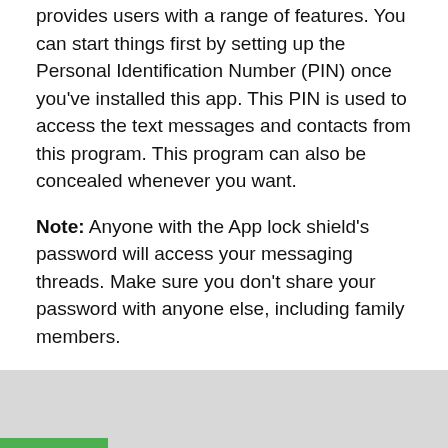provides users with a range of features. You can start things first by setting up the Personal Identification Number (PIN) once you've installed this app. This PIN is used to access the text messages and contacts from this program. This program can also be concealed whenever you want.
Note: Anyone with the App lock shield's password will access your messaging threads. Make sure you don't share your password with anyone else, including family members.
You will import all of the contacts you want after you have set up the PIN. When you have imported the contacts you want, those contacts are classified as “personal” and all messages sent by these contacts are hidden or we can say nobody is seen. You may set a specific notification tone